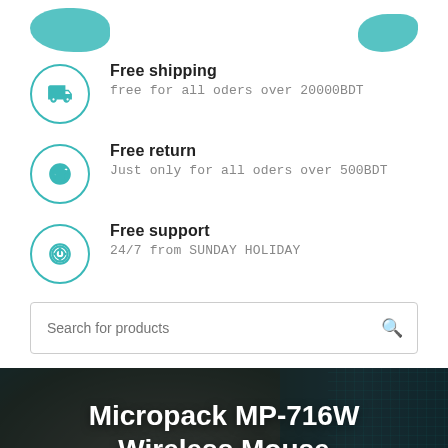[Figure (illustration): Two teal/cyan blob shapes at the top of the page, partially cropped, one on the left and one on the right]
Free shipping
free for all oders over 20000BDT
Free return
Just only for all oders over 500BDT
Free support
24/7 from SUNDAY HOLIDAY
Search for products
Micropack MP-716W Wireless Mouse